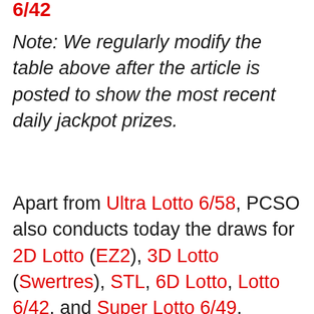6/42
Note: We regularly modify the table above after the article is posted to show the most recent daily jackpot prizes.
Apart from Ultra Lotto 6/58, PCSO also conducts today the draws for 2D Lotto (EZ2), 3D Lotto (Swertres), STL, 6D Lotto, Lotto 6/42, and Super Lotto 6/49.